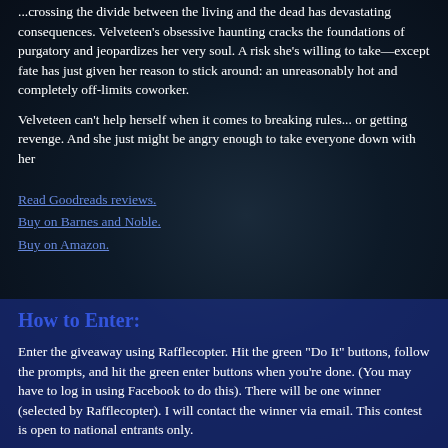...crossing the divide between the living and the dead has devastating consequences. Velveteen's obsessive haunting cracks the foundations of purgatory and jeopardizes her very soul. A risk she's willing to take—except fate has just given her reason to stick around: an unreasonably hot and completely off-limits coworker.
Velveteen can't help herself when it comes to breaking rules... or getting revenge. And she just might be angry enough to take everyone down with her
Read Goodreads reviews.
Buy on Barnes and Noble.
Buy on Amazon.
How to Enter:
Enter the giveaway using Rafflecopter. Hit the green "Do It" buttons, follow the prompts, and hit the green enter buttons when you're done. (You may have to log in using Facebook to do this). There will be one winner (selected by Rafflecopter). I will contact the winner via email. This contest is open to national entrants only.